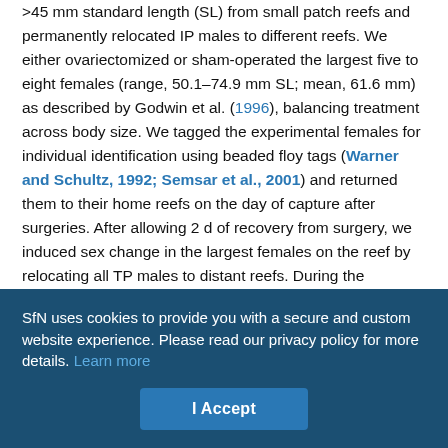>45 mm standard length (SL) from small patch reefs and permanently relocated IP males to different reefs. We either ovariectomized or sham-operated the largest five to eight females (range, 50.1–74.9 mm SL; mean, 61.6 mm) as described by Godwin et al. (1996), balancing treatment across body size. We tagged the experimental females for individual identification using beaded floy tags (Warner and Schultz, 1992; Semsar et al., 2001) and returned them to their home reefs on the day of capture after surgeries. After allowing 2 d of recovery from surgery, we induced sex change in the largest females on the reef by relocating all TP males to distant reefs. During the following week, we periodically checked the reefs for immigration of TP males from neighboring reefs and removed them, if found. If TP males were found repeatedly on a reef, we did
SfN uses cookies to provide you with a secure and custom website experience. Please read our privacy policy for more details. Learn more